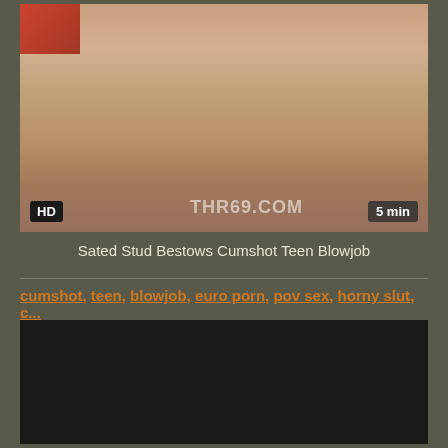[Figure (photo): Video thumbnail showing a person; HD badge bottom-left, THR69.COM watermark in center, 5 min duration badge bottom-right]
Sated Stud Bestows Cumshot Teen Blowjob
cumshot, teen, blowjob, euro porn, pov sex, horny slut, c...
[Figure (photo): Dark/black video player area]